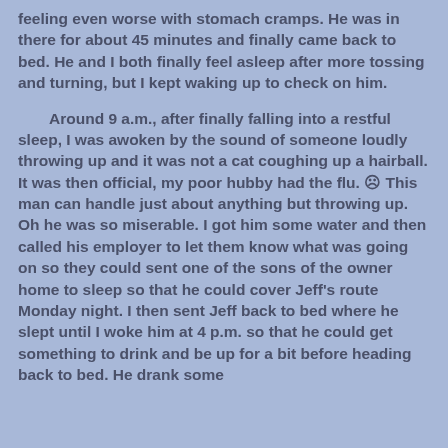feeling even worse with stomach cramps.  He was in there for about 45 minutes and finally came back to bed.  He and I both finally feel asleep after more tossing and turning, but I kept waking up to check on him.

Around 9 a.m., after finally falling into a restful sleep, I was awoken by the sound of someone loudly throwing up and it was not a cat coughing up a hairball.  It was then official, my poor hubby had the flu.  ☹  This man can handle just about anything but throwing up.  Oh he was so miserable.  I got him some water and then called his employer to let them know what was going on so they could sent one of the sons of the owner home to sleep so that he could cover Jeff's route Monday night.  I then sent Jeff back to bed where he slept until I woke him at 4 p.m. so that he could get something to drink and be up for a bit before heading back to bed.  He drank some